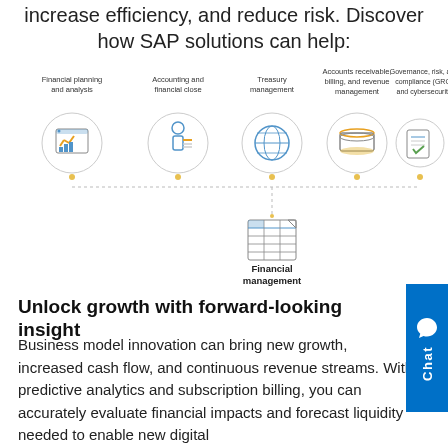increase efficiency, and reduce risk. Discover how SAP solutions can help:
[Figure (infographic): Diagram showing SAP financial management solutions: five icons in a row at top (Financial planning and analysis, Accounting and financial close, Treasury management, Accounts receivable billing and revenue management, Governance risk and compliance (GRC) and cybersecurity) connected via dotted lines down to a central Financial management icon at the bottom.]
Unlock growth with forward-looking insight
Business model innovation can bring new growth, increased cash flow, and continuous revenue streams. With predictive analytics and subscription billing, you can accurately evaluate financial impacts and forecast liquidity needed to enable new digital